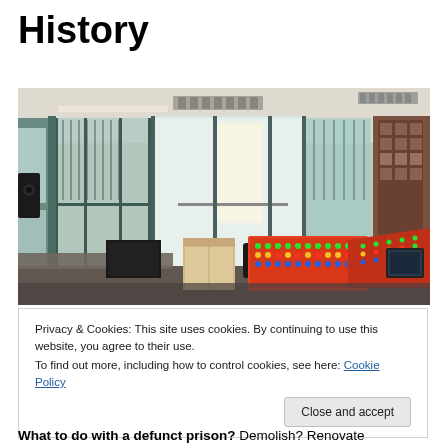History
[Figure (photo): Interior of a control room with large glass windows, colorful audio/mixing consoles with green, red, yellow, and blue buttons, a cardboard box, office equipment, and a view into an adjacent room or corridor.]
Privacy & Cookies: This site uses cookies. By continuing to use this website, you agree to their use.
To find out more, including how to control cookies, see here: Cookie Policy
Close and accept
What to do with a defunct prison? Demolish? Renovate